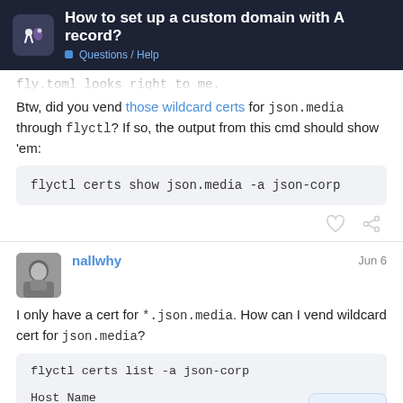How to set up a custom domain with A record? Questions / Help
fly.toml looks right to me.
Btw, did you vend those wildcard certs for json.media through flyctl? If so, the output from this cmd should show 'em:
flyctl certs show json.media -a json-corp
nallwhy Jun 6
I only have a cert for *.json.media. How can I vend wildcard cert for json.media?
flyctl certs list -a json-corp
Host Name
3 / 8